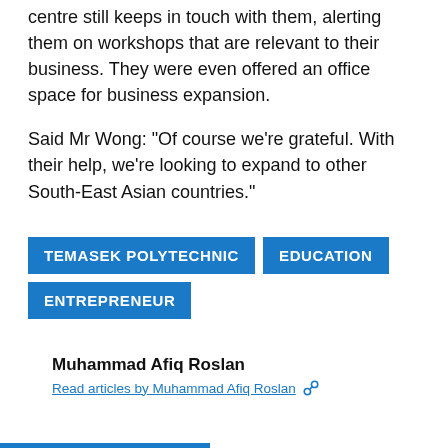centre still keeps in touch with them, alerting them on workshops that are relevant to their business. They were even offered an office space for business expansion.
Said Mr Wong: "Of course we're grateful. With their help, we're looking to expand to other South-East Asian countries."
TEMASEK POLYTECHNIC
EDUCATION
ENTREPRENEUR
Muhammad Afiq Roslan
Read articles by Muhammad Afiq Roslan